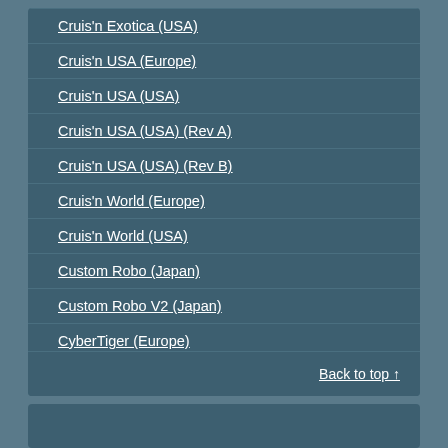Cruis'n Exotica (USA)
Cruis'n USA (Europe)
Cruis'n USA (USA)
Cruis'n USA (USA) (Rev A)
Cruis'n USA (USA) (Rev B)
Cruis'n World (Europe)
Cruis'n World (USA)
Custom Robo (Japan)
Custom Robo V2 (Japan)
CyberTiger (Europe)
CyberTiger (USA)
Back to top ↑